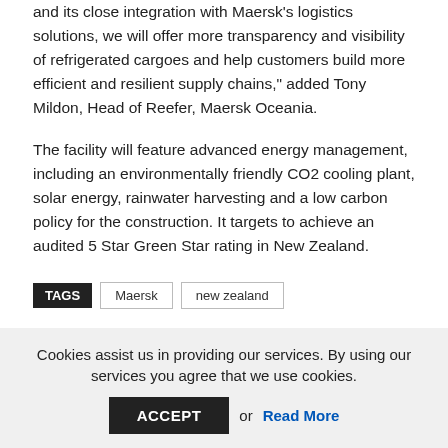and its close integration with Maersk's logistics solutions, we will offer more transparency and visibility of refrigerated cargoes and help customers build more efficient and resilient supply chains," added Tony Mildon, Head of Reefer, Maersk Oceania.
The facility will feature advanced energy management, including an environmentally friendly CO2 cooling plant, solar energy, rainwater harvesting and a low carbon policy for the construction. It targets to achieve an audited 5 Star Green Star rating in New Zealand.
TAGS  Maersk  new zealand
Cookies assist us in providing our services. By using our services you agree that we use cookies.
ACCEPT or Read More